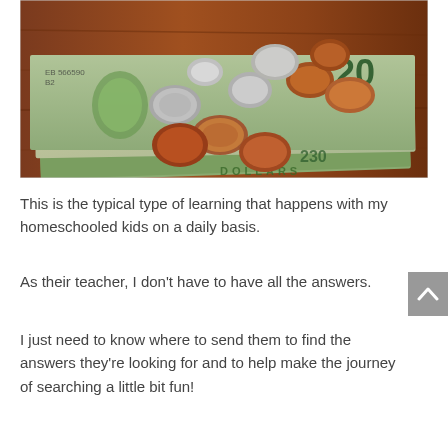[Figure (photo): Photo of US dollar bills (including a $20 bill) with various coins (pennies, nickels, dimes, quarters) piled on top, laid on a wooden surface.]
This is the typical type of learning that happens with my homeschooled kids on a daily basis.
As their teacher, I don't have to have all the answers.
I just need to know where to send them to find the answers they're looking for and to help make the journey of searching a little bit fun!